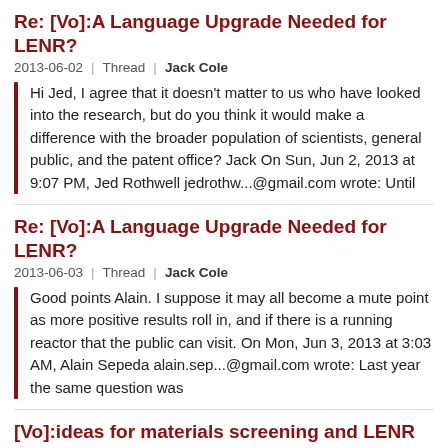Re: [Vo]:A Language Upgrade Needed for LENR?
2013-06-02 | Thread | Jack Cole
Hi Jed, I agree that it doesn't matter to us who have looked into the research, but do you think it would make a difference with the broader population of scientists, general public, and the patent office? Jack On Sun, Jun 2, 2013 at 9:07 PM, Jed Rothwell jedrothw...@gmail.com wrote: Until
Re: [Vo]:A Language Upgrade Needed for LENR?
2013-06-03 | Thread | Jack Cole
Good points Alain. I suppose it may all become a mute point as more positive results roll in, and if there is a running reactor that the public can visit. On Mon, Jun 3, 2013 at 3:03 AM, Alain Sepeda alain.sep...@gmail.com wrote: Last year the same question was
[Vo]:ideas for materials screening and LENR
2013-06-06 | Thread | Jack Cole
Hi All, I've been considering ideas for running LENR experiments in parallel. I know PF and others have done some experiments like this in the past with running multiple electrolytic cells simultaneously, so this is certainly an option